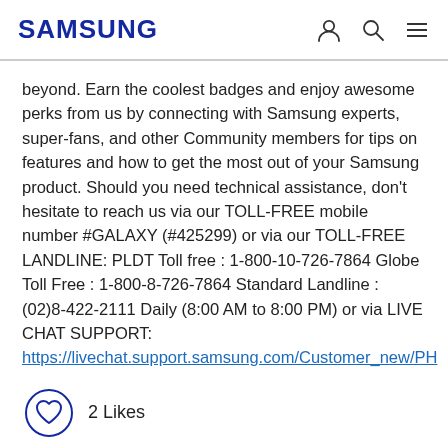SAMSUNG
beyond. Earn the coolest badges and enjoy awesome perks from us by connecting with Samsung experts, super-fans, and other Community members for tips on features and how to get the most out of your Samsung product. Should you need technical assistance, don't hesitate to reach us via our TOLL-FREE mobile number #GALAXY (#425299) or via our TOLL-FREE LANDLINE: PLDT Toll free : 1-800-10-726-7864 Globe Toll Free : 1-800-8-726-7864 Standard Landline : (02)8-422-2111 Daily (8:00 AM to 8:00 PM) or via LIVE CHAT SUPPORT: https://livechat.support.samsung.com/Customer_new/PH
2 Likes